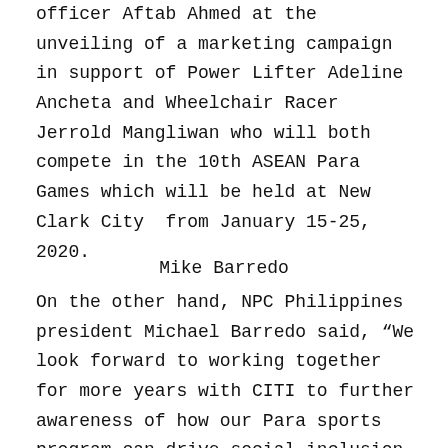officer Aftab Ahmed at the unveiling of a marketing campaign in support of Power Lifter Adeline Ancheta and Wheelchair Racer Jerrold Mangliwan who will both compete in the 10th ASEAN Para  Games which will be held at New Clark City  from January 15-25, 2020.
Mike Barredo
On the other hand, NPC Philippines president Michael Barredo said, “We look forward to working together for more years with CITI to further awareness of how our Para sports program can drive social inclusion. “This partnership catalyzed our efforts in pursuing our vision of enabling our Filipino Para athletes to achieve sporting excellence and excite and inspire